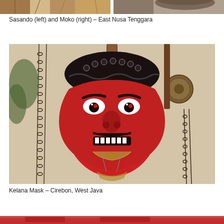[Figure (photo): Partial top view of Sasando (left) and Moko (right) musical/cultural artifacts from East Nusa Tenggara – cropped top portion visible]
Sasando (left) and Moko (right) – East Nusa Tenggara
[Figure (photo): Kelana Mask from Cirebon, West Java – a red decorative mask with black ornamental headdress, white eyes, and hanging chain decorations, suspended on display]
Kelana Mask – Cirebon, West Java
[Figure (photo): Bottom strip showing partial view of another red artifact from the collection]